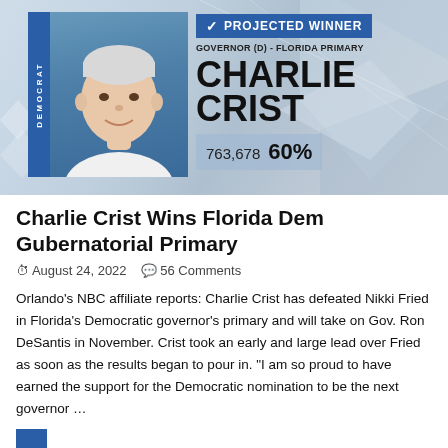[Figure (screenshot): Election result banner showing Charlie Crist as projected winner for Governor (D) - Florida Primary with 763,678 votes and 60%, alongside his photo and a Democrat label strip]
Charlie Crist Wins Florida Dem Gubernatorial Primary
August 24, 2022   56 Comments
Orlando's NBC affiliate reports: Charlie Crist has defeated Nikki Fried in Florida's Democratic governor's primary and will take on Gov. Ron DeSantis in November. Crist took an early and large lead over Fried as soon as the results began to pour in. "I am so proud to have earned the support for the Democratic nomination to be the next governor …